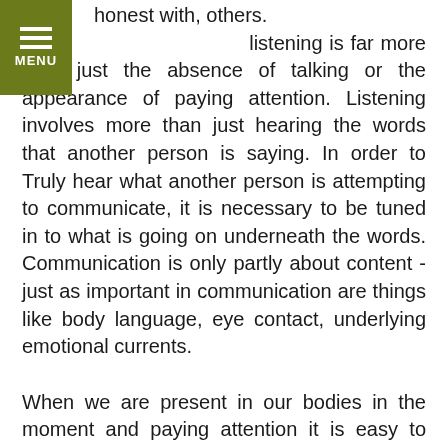honest with, others. Listening is far more than just the absence of talking or the appearance of paying attention. Listening involves more than just hearing the words that another person is saying. In order to Truly hear what another person is attempting to communicate, it is necessary to be tuned in to what is going on underneath the words. Communication is only partly about content - just as important in communication are things like body language, eye contact, underlying emotional currents.
When we are present in our bodies in the moment and paying attention it is easy to discern if the other person is really talking to us - as opposed to talking at us, or telling a story. In the beginning of any relationship, people tell each other stories about their past - it is part of getting to know each other. What is important is to be able to be present while telling the story. That involves not just the other person but also ourselves.